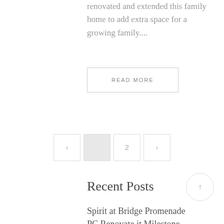renovated and extended this family home to add extra space for a growing family....
READ MORE
[Figure (other): Pagination navigation with previous arrow, current page (highlighted), page 2, and next arrow buttons]
Recent Posts
Spirit at Bridge Promenade
PC Renovate it Milestone